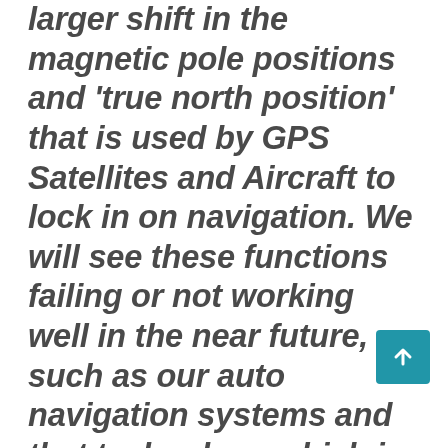larger shift in the magnetic pole positions and 'true north position' that is used by GPS Satellites and Aircraft to lock in on navigation. We will see these functions failing or not working well in the near future, such as our auto navigation systems and that technology which is tied to the usage of the GPS satellite transmissions. The global brain is changing in relation to radical magnetic anomalies generated fr quantum shifts in the spinning rotational axis, which is impacting our Brain, thinking and neurological